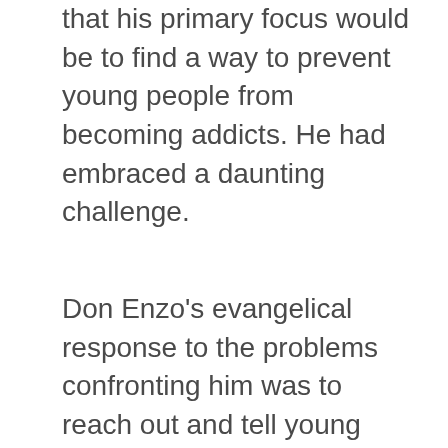that his primary focus would be to find a way to prevent young people from becoming addicts. He had embraced a daunting challenge.
Don Enzo's evangelical response to the problems confronting him was to reach out and tell young people that he was available to talk to anyone who needed to talk or needed help. The area was filled with young people moving up from southern Italy,